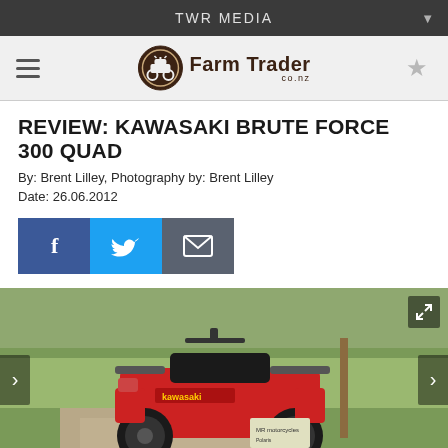TWR MEDIA
[Figure (logo): Farm Trader co.nz logo with circular ATV icon]
REVIEW: KAWASAKI BRUTE FORCE 300 QUAD
By: Brent Lilley, Photography by: Brent Lilley
Date: 26.06.2012
[Figure (infographic): Social sharing buttons: Facebook, Twitter, Email]
[Figure (photo): Kawasaki Brute Force 300 quad ATV in red, parked on a dirt path with green grass in background]